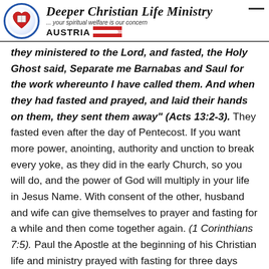Deeper Christian Life Ministry ... your spiritual welfare is our concern AUSTRIA
they ministered to the Lord, and fasted, the Holy Ghost said, Separate me Barnabas and Saul for the work whereunto I have called them. And when they had fasted and prayed, and laid their hands on them, they sent them away" (Acts 13:2-3). They fasted even after the day of Pentecost. If you want more power, anointing, authority and unction to break every yoke, as they did in the early Church, so you will do, and the power of God will multiply in your life in Jesus Name. With consent of the other, husband and wife can give themselves to prayer and fasting for a while and then come together again. (1 Corinthians 7:5). Paul the Apostle at the beginning of his Christian life and ministry prayed with fasting for three days (Acts 9:9). And at the latter part of his